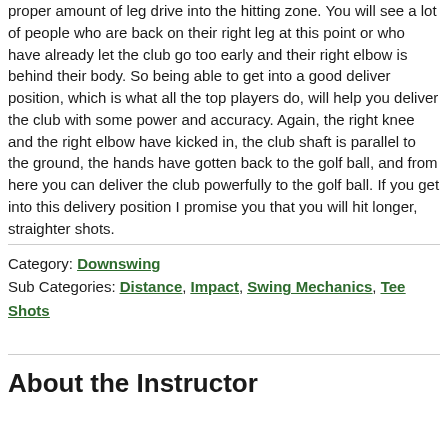proper amount of leg drive into the hitting zone. You will see a lot of people who are back on their right leg at this point or who have already let the club go too early and their right elbow is behind their body. So being able to get into a good deliver position, which is what all the top players do, will help you deliver the club with some power and accuracy. Again, the right knee and the right elbow have kicked in, the club shaft is parallel to the ground, the hands have gotten back to the golf ball, and from here you can deliver the club powerfully to the golf ball. If you get into this delivery position I promise you that you will hit longer, straighter shots.
Category: Downswing
Sub Categories: Distance, Impact, Swing Mechanics, Tee Shots
About the Instructor